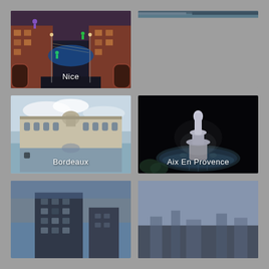[Figure (photo): Night photo of Nice city center with illuminated buildings and light sculptures]
[Figure (photo): Partially visible photo at top right, cropped]
[Figure (photo): Daytime photo of Bordeaux Place de la Bourse with reflection pool]
[Figure (photo): Night photo of Aix En Provence fountain with statue lit up]
[Figure (photo): Dusk photo of a modern building, partially visible at bottom left]
[Figure (photo): Dusk/hazy photo partially visible at bottom right]